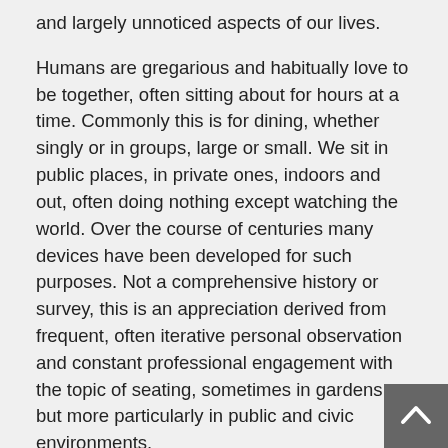and largely unnoticed aspects of our lives.
Humans are gregarious and habitually love to be together, often sitting about for hours at a time. Commonly this is for dining, whether singly or in groups, large or small. We sit in public places, in private ones, indoors and out, often doing nothing except watching the world. Over the course of centuries many devices have been developed for such purposes. Not a comprehensive history or survey, this is an appreciation derived from frequent, often iterative personal observation and constant professional engagement with the topic of seating, sometimes in gardens, but more particularly in public and civic environments.
The book consists of a series of essays that begin with the author's personal discovery of public seating. An 'ah hah' moment as a young architect visiting Paris and his early experience as a designer is followed by a brief history of the evolution of public space and seating in the West. This is followed by an account of some of his experiments as a